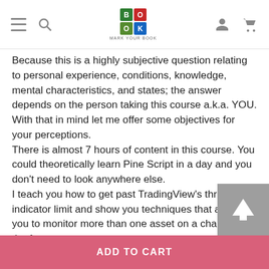MARK YOUR BOOK
Because this is a highly subjective question relating to personal experience, conditions, knowledge, mental characteristics, and states; the answer depends on the person taking this course a.k.a. YOU.
With that in mind let me offer some objectives for your perceptions.
There is almost 7 hours of content in this course. You could theoretically learn Pine Script in a day and you don't need to look anywhere else.
I teach you how to get past TradingView's three indicator limit and show you techniques that allow you to monitor more than one asset on a chart. All on the free account. Yes, this course saves you the cost of a TradingView subscription.
I've spent almost 5 years learning what I know now. I've consolidated and condensed that knowledge into this course, so you can be confident you are learning the right